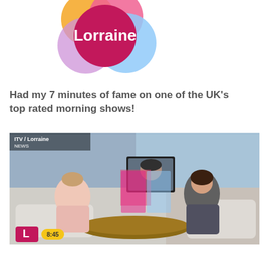[Figure (logo): Lorraine TV show logo: overlapping circles in pink/magenta, light blue, yellow/orange, with white text 'Lorraine' in the magenta circle]
Had my 7 minutes of fame on one of the UK's top rated morning shows!
[Figure (photo): Screenshot of the Lorraine morning TV show on ITV. Two women are seated on sofas in a studio set. A man's face appears on a screen/monitor in the background. The Lorraine logo 'L' watermark and time '8:45' are visible in the lower left corner.]